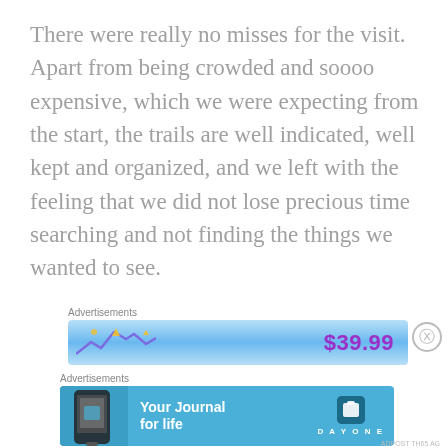There were really no misses for the visit. Apart from being crowded and soooo expensive, which we were expecting from the start, the trails are well indicated, well kept and organized, and we left with the feeling that we did not lose precious time searching and not finding the things we wanted to see.
Advertisements
[Figure (other): Advertisement banner showing price $39.99 on blue gradient background with decorative elements]
Advertisements
[Figure (other): Day One app advertisement - Your Journal for life, blue background with phone image and Day One logo]